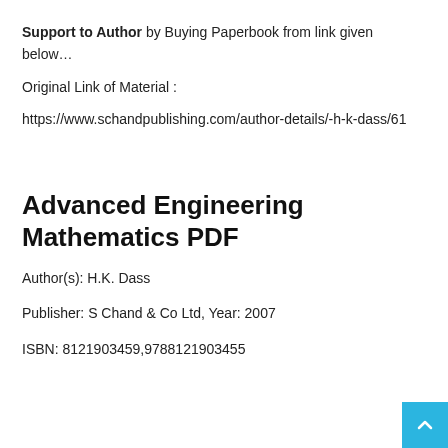Support to Author by Buying Paperbook from link given below…
Original Link of Material :
https://www.schandpublishing.com/author-details/-h-k-dass/61
Advanced Engineering Mathematics PDF
Author(s): H.K. Dass
Publisher: S Chand & Co Ltd, Year: 2007
ISBN: 8121903459,9788121903455